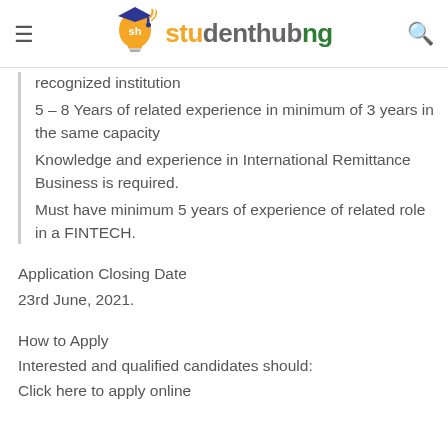studenthubng
recognized institution
5 – 8 Years of related experience in minimum of 3 years in the same capacity
Knowledge and experience in International Remittance Business is required.
Must have minimum 5 years of experience of related role in a FINTECH.
Application Closing Date
23rd June, 2021.
How to Apply
Interested and qualified candidates should:
Click here to apply online